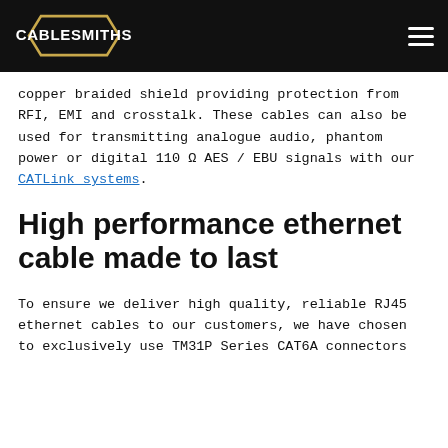CABLESMITHS
copper braided shield providing protection from RFI, EMI and crosstalk. These cables can also be used for transmitting analogue audio, phantom power or digital 110 Ω AES / EBU signals with our CATLink systems.
High performance ethernet cable made to last
To ensure we deliver high quality, reliable RJ45 ethernet cables to our customers, we have chosen to exclusively use TM31P Series CAT6A connectors